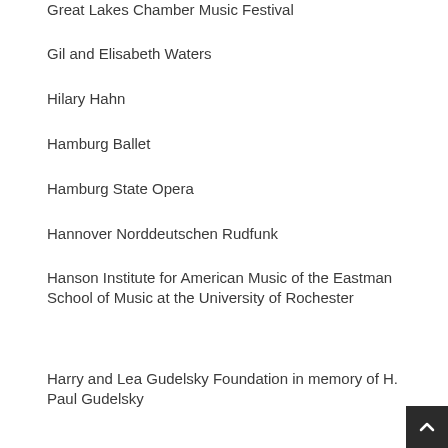Great Lakes Chamber Music Festival
Gil and Elisabeth Waters
Hilary Hahn
Hamburg Ballet
Hamburg State Opera
Hannover Norddeutschen Rudfunk
Hanson Institute for American Music of the Eastman School of Music at the University of Rochester
Harry and Lea Gudelsky Foundation in memory of H. Paul Gudelsky